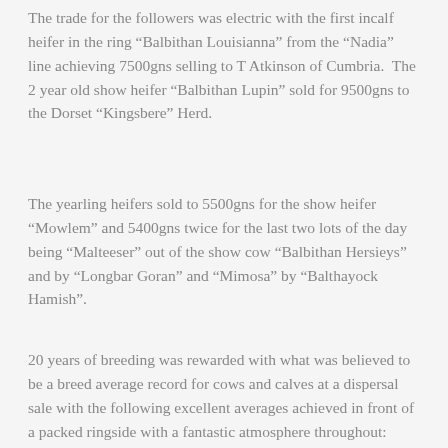The trade for the followers was electric with the first incalf heifer in the ring “Balbithan Louisianna” from the “Nadia” line achieving 7500gns selling to T Atkinson of Cumbria.  The 2 year old show heifer “Balbithan Lupin” sold for 9500gns to the Dorset “Kingsbere” Herd.
The yearling heifers sold to 5500gns for the show heifer “Mowlem” and 5400gns twice for the last two lots of the day being “Malteeser” out of the show cow “Balbithan Hersieys” and by “Longbar Goran” and “Mimosa” by “Balthayock Hamish”.
20 years of breeding was rewarded with what was believed to be a breed average record for cows and calves at a dispersal sale with the following excellent averages achieved in front of a packed ringside with a fantastic atmosphere throughout:
| 23 | Cows and Calves | £8550.65 |
| 4 | Incalf Cows | £4121.25 |